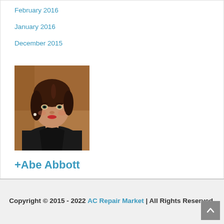February 2016
January 2016
December 2015
[Figure (photo): Professional headshot of a woman with dark hair wearing a black jacket, against a brown/orange background]
+Abe Abbott
Copyright © 2015 - 2022 AC Repair Market | All Rights Reserved.